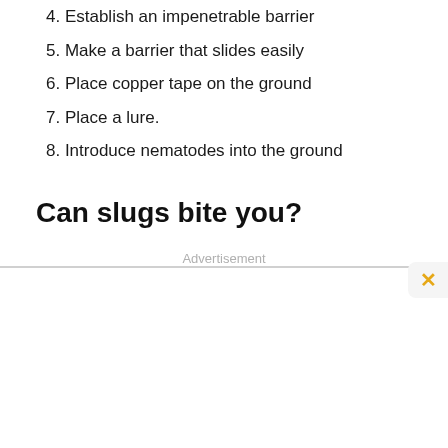4. Establish an impenetrable barrier
5. Make a barrier that slides easily
6. Place copper tape on the ground
7. Place a lure.
8. Introduce nematodes into the ground
Can slugs bite you?
Advertisement